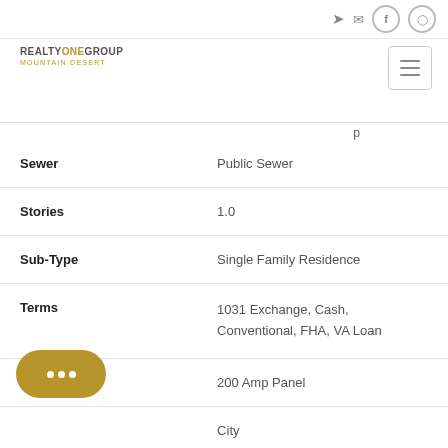[Figure (logo): Realty One Group Mountain Desert logo]
| Field | Value |
| --- | --- |
| Sewer | Public Sewer |
| Stories | 1.0 |
| Sub-Type | Single Family Residence |
| Terms | 1031 Exchange, Cash, Conventional, FHA, VA Loan |
| Utilities | 200 Amp Panel |
|  | City |
| Year Built | 2022 |